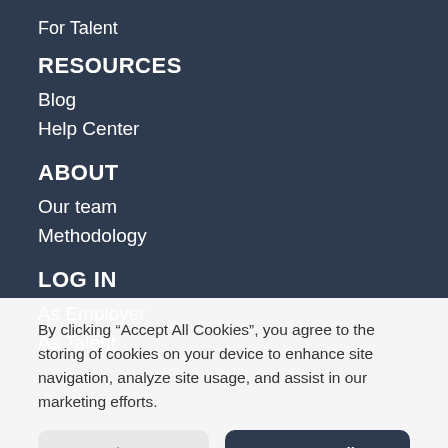For Talent
RESOURCES
Blog
Help Center
ABOUT
Our team
Methodology
LOG IN
As Employer
As Talent
By clicking “Accept All Cookies”, you agree to the storing of cookies on your device to enhance site navigation, analyze site usage, and assist in our marketing efforts.
No, let me choose
Accept All Cookies